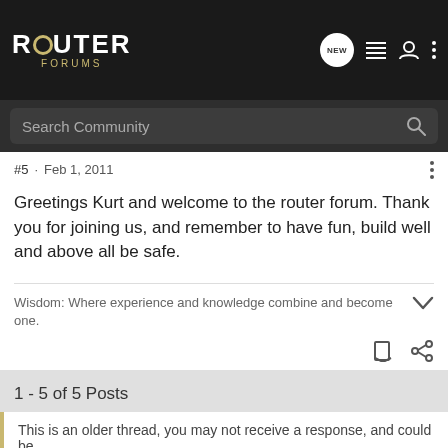ROUTER FORUMS
Search Community
#5 · Feb 1, 2011
Greetings Kurt and welcome to the router forum. Thank you for joining us, and remember to have fun, build well and above all be safe.
Wisdom: Where experience and knowledge combine and become one.
1 - 5 of 5 Posts
This is an older thread, you may not receive a response, and could be